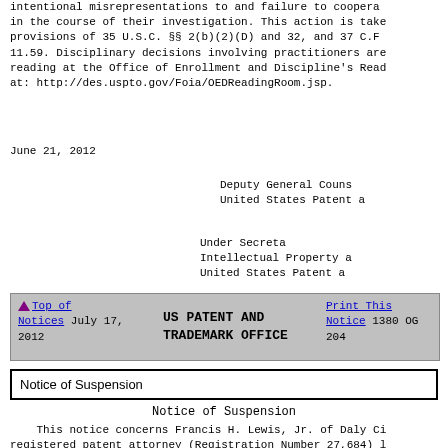intentional misrepresentations to and failure to cooperate in the course of their investigation. This action is taken provisions of 35 U.S.C. §§ 2(b)(2)(D) and 32, and 37 C.F. 11.59. Disciplinary decisions involving practitioners are reading at the Office of Enrollment and Discipline's Read at: http://des.uspto.gov/Foia/OEDReadingRoom.jsp.
June 21, 2012
Deputy General Couns
United States Patent a
Under Secreta
Intellectual Property a
United States Patent a
▲ Top of Notices July 17, 2012   US PATENT AND TRADEMARK OFFICE   Print This Notice 1380 OG 204
Notice of Suspension
Notice of Suspension
This notice concerns Francis H. Lewis, Jr. of Daly Ci registered patent attorney (Registration Number 27,684) practice law in the State of California. In a reciprocal proceeding, Mr. Lewis has been suspended for two years f